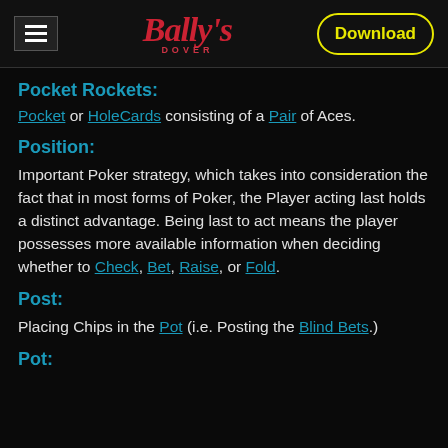Bally's Dover — Download
Pocket Rockets:
Pocket or HoleCards consisting of a Pair of Aces.
Position:
Important Poker strategy, which takes into consideration the fact that in most forms of Poker, the Player acting last holds a distinct advantage. Being last to act means the player possesses more available information when deciding whether to Check, Bet, Raise, or Fold.
Post:
Placing Chips in the Pot (i.e. Posting the Blind Bets.)
Pot: